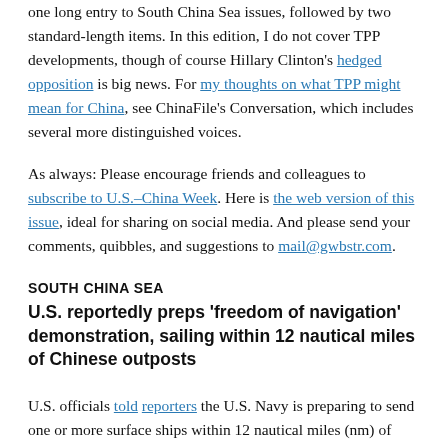one long entry to South China Sea issues, followed by two standard-length items. In this edition, I do not cover TPP developments, though of course Hillary Clinton's hedged opposition is big news. For my thoughts on what TPP might mean for China, see ChinaFile's Conversation, which includes several more distinguished voices.
As always: Please encourage friends and colleagues to subscribe to U.S.–China Week. Here is the web version of this issue, ideal for sharing on social media. And please send your comments, quibbles, and suggestions to mail@gwbstr.com.
SOUTH CHINA SEA
U.S. reportedly preps 'freedom of navigation' demonstration, sailing within 12 nautical miles of Chinese outposts
U.S. officials told reporters the U.S. Navy is preparing to send one or more surface ships within 12 nautical miles (nm) of